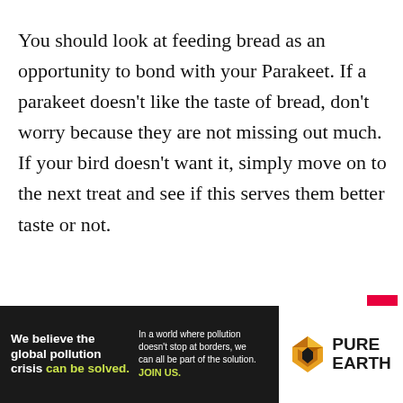You should look at feeding bread as an opportunity to bond with your Parakeet. If a parakeet doesn't like the taste of bread, don't worry because they are not missing out much. If your bird doesn't want it, simply move on to the next treat and see if this serves them better taste or not.
[Figure (other): Advertisement banner for Pure Earth organization. Dark background on left with bold white text 'We believe the global pollution crisis can be solved.' with 'can be solved.' in yellow-green. Right side of ad text reads 'In a world where pollution doesn't stop at borders, we can all be part of the solution. JOIN US.' in white with JOIN US in yellow-green. Pure Earth logo on white background on far right showing a diamond/triangle shaped icon with 'PURE EARTH' text in bold.]